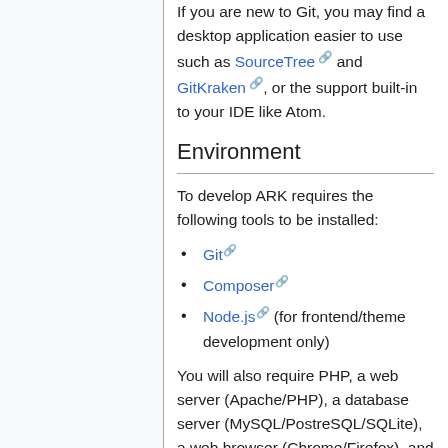If you are new to Git, you may find a desktop application easier to use such as SourceTree and GitKraken, or the support built-in to your IDE like Atom.
Environment
To develop ARK requires the following tools to be installed:
Git
Composer
Node.js (for frontend/theme development only)
You will also require PHP, a web server (Apache/PHP), a database server (MySQL/PostreSQL/SQLite), a web browser (Chrome/Firefox), and a an API client (Postman).
The following tools are recommend to adhere to ARK code quality standards: